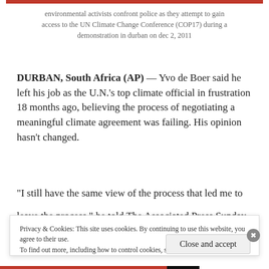environmental activists confront police as they attempt to gain access to the UN Climate Change Conference (COP17) during a demonstration in durban on dec 2, 2011
DURBAN, South Africa (AP) — Yvo de Boer said he left his job as the U.N.'s top climate official in frustration 18 months ago, believing the process of negotiating a meaningful climate agreement was failing. His opinion hasn't changed.
“I still have the same view of the process that led me to leave the process,” he told The Associated Press Sunday
Privacy & Cookies: This site uses cookies. By continuing to use this website, you agree to their use.
To find out more, including how to control cookies, see here: Cookie Policy
Close and accept